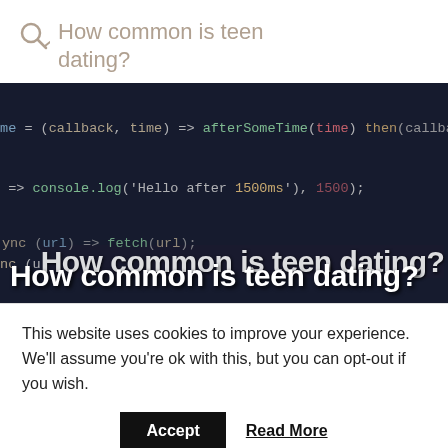How common is teen dating?
[Figure (screenshot): Dark-themed code editor screenshot showing JavaScript code with colored syntax highlighting. Lines include: 'ime = (callback, time) => afterSomeTime(time) then(callbac', '=> console.log("Hello after 1500ms"), 1500);', 'ync (url) => fetch(url);'. Overlaid on the bottom is large white bold text reading 'How common is teen dating?']
This website uses cookies to improve your experience. We'll assume you're ok with this, but you can opt-out if you wish.
Accept   Read More